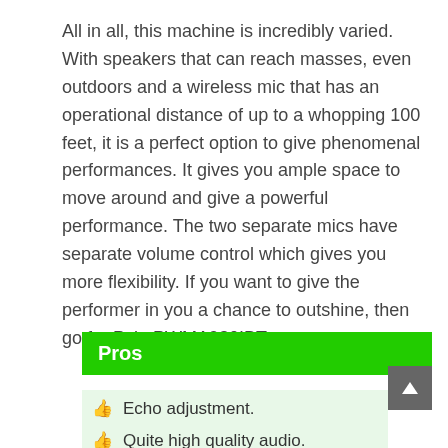All in all, this machine is incredibly varied. With speakers that can reach masses, even outdoors and a wireless mic that has an operational distance of up to a whopping 100 feet, it is a perfect option to give phenomenal performances. It gives you ample space to move around and give a powerful performance. The two separate mics have separate volume control which gives you more flexibility. If you want to give the performer in you a chance to outshine, then go for Pyle PWMA930IBT.
Pros
Echo adjustment.
Quite high quality audio.